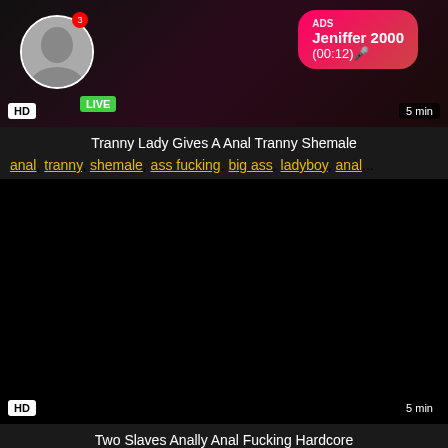[Figure (screenshot): Ad thumbnail showing live stream notification with avatar, ADS label, username Jeniffer 2000, (00:12) timer, LIVE badge, HD badge, 5 min duration]
Tranny Lady Gives A Anal Tranny Shemale
anal, tranny, shemale, ass fucking, big ass, ladyboy, anal...
[Figure (screenshot): Dark/black video thumbnail with HD badge bottom-left and 5 min duration bottom-right]
Two Slaves Anally Anal Fucking Hardcore